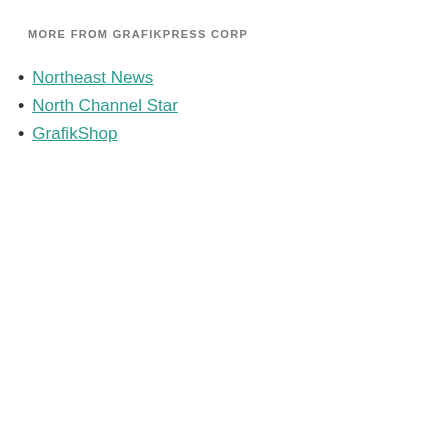MORE FROM GRAFIKPRESS CORP
Northeast News
North Channel Star
GrafikShop